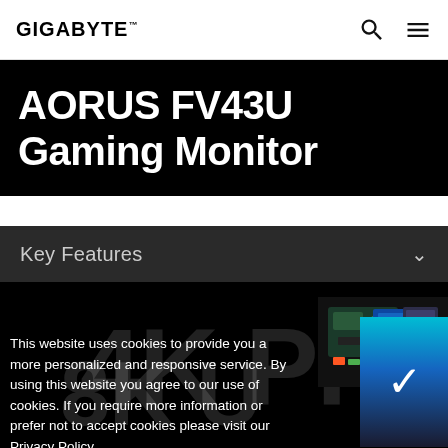GIGABYTE
AORUS FV43U Gaming Monitor
Key Features
[Figure (screenshot): Dark hero section showing '4K PRO' large text watermark in dark background with a small device/gaming image visible at top right, and a blue-teal cookie accept bar with checkmark.]
This website uses cookies to provide you a more personalized and responsive service. By using this website you agree to our use of cookies. If you require more information or prefer not to accept cookies please visit our Privacy Policy